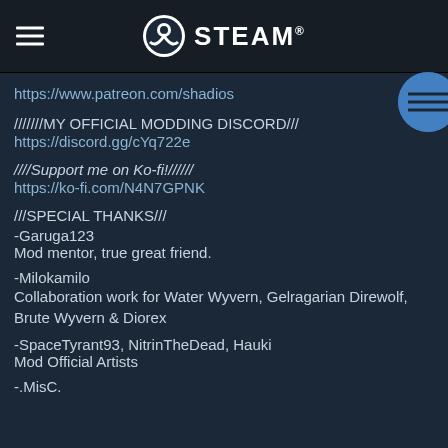STEAM
https://www.patreon.com/shadios
///////MY OFFICIAL MODDING DISCORD///
https://discord.gg/cYq722e
////Support me on Ko-fi!//////
https://ko-fi.com/N4N7GPNK
///SPECIAL THANKS///
-Garuga123
Mod mentor, true great friend.
-Milokamilo
Collaboration work for Water Wyvern, Gelragarian Direwolf, Brute Wyvern & Diorex
-SpaceTyrant93, NitrinTheDead, Hauki
Mod Official Artists
-.MisC.